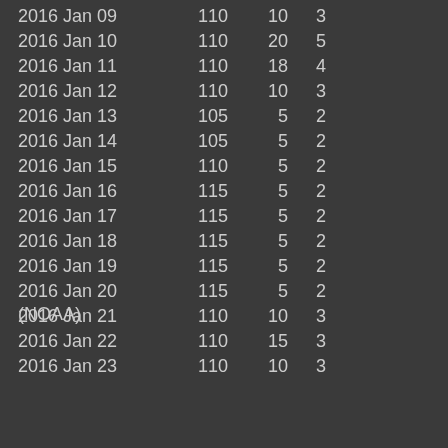| 2016 Jan 09 | 110 | 10 | 3 |
| 2016 Jan 10 | 110 | 20 | 5 |
| 2016 Jan 11 | 110 | 18 | 4 |
| 2016 Jan 12 | 110 | 10 | 3 |
| 2016 Jan 13 | 105 | 5 | 2 |
| 2016 Jan 14 | 105 | 5 | 2 |
| 2016 Jan 15 | 110 | 5 | 2 |
| 2016 Jan 16 | 115 | 5 | 2 |
| 2016 Jan 17 | 115 | 5 | 2 |
| 2016 Jan 18 | 115 | 5 | 2 |
| 2016 Jan 19 | 115 | 5 | 2 |
| 2016 Jan 20 | 115 | 5 | 2 |
| 2016 Jan 21 | 110 | 10 | 3 |
| 2016 Jan 22 | 110 | 15 | 3 |
| 2016 Jan 23 | 110 | 10 | 3 |
(NOAA)